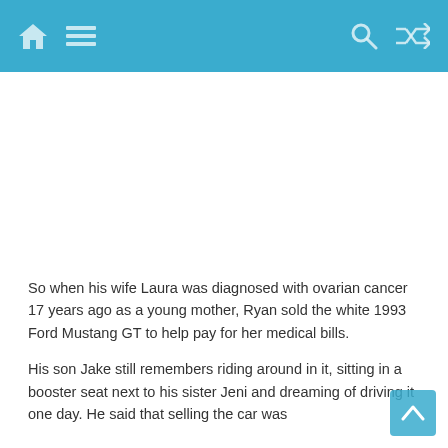Navigation bar with home icon, menu icon, search icon, and shuffle icon
[Figure (other): Advertisement placeholder area (white space)]
So when his wife Laura was diagnosed with ovarian cancer 17 years ago as a young mother, Ryan sold the white 1993 Ford Mustang GT to help pay for her medical bills.
His son Jake still remembers riding around in it, sitting in a booster seat next to his sister Jeni and dreaming of driving it one day. He said that selling the car was